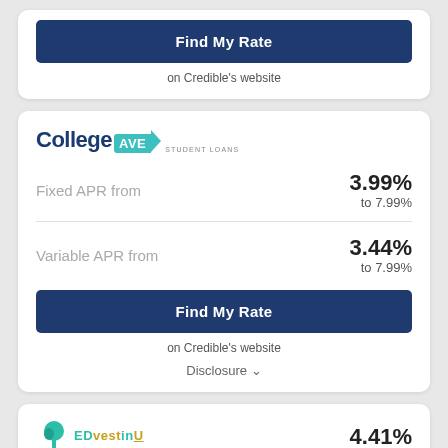[Figure (other): Find My Rate button on top partial card]
on Credible's website
[Figure (logo): College AVE Student Loans logo]
Fixed APR from
3.99% to 7.99%
Variable APR from
3.44% to 7.99%
[Figure (other): Find My Rate button]
on Credible's website
Disclosure ∨
[Figure (logo): EDvestinU logo]
4.41%